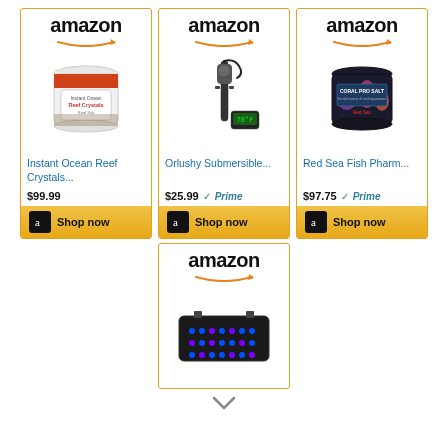[Figure (screenshot): Amazon product card: Instant Ocean Reef Crystals, $99.99, Shop now button]
[Figure (screenshot): Amazon product card: Orlushy Submersible..., $25.99 Prime, Shop now button]
[Figure (screenshot): Amazon product card: Red Sea Fish Pharm..., $97.75 Prime, Shop now button]
[Figure (screenshot): Amazon product card: LED aquarium light, partial card visible at bottom]